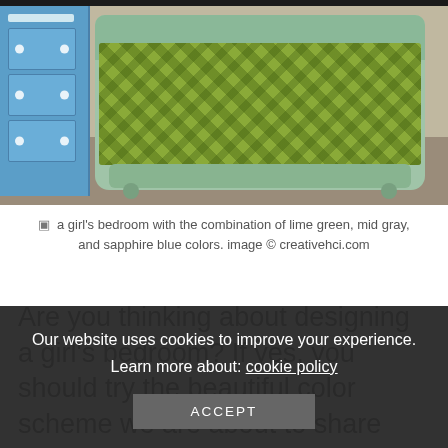[Figure (photo): A girl's bedroom featuring a blue dresser on the left, a bed with a green/lime floral comforter and light blue/mint painted wooden bed frame, gray flooring, and beige/tan walls.]
a girl's bedroom with the combination of lime green, mid gray, and sapphire blue colors. image © creativehci.com
Are you thinking about designing a girl's bedroom? If yes, you should try the beautiful color scheme we are about to share with
Our website uses cookies to improve your experience. Learn more about: cookie policy
ACCEPT